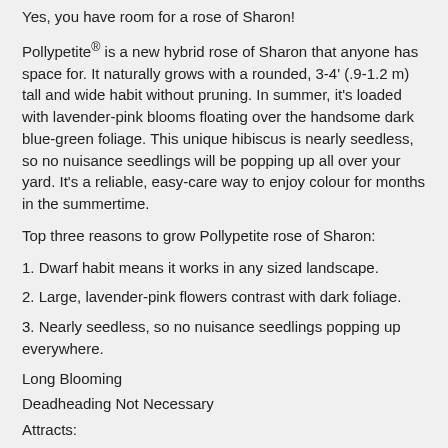Yes, you have room for a rose of Sharon!
Pollypetite® is a new hybrid rose of Sharon that anyone has space for. It naturally grows with a rounded, 3-4' (.9-1.2 m) tall and wide habit without pruning. In summer, it's loaded with lavender-pink blooms floating over the handsome dark blue-green foliage. This unique hibiscus is nearly seedless, so no nuisance seedlings will be popping up all over your yard. It's a reliable, easy-care way to enjoy colour for months in the summertime.
Top three reasons to grow Pollypetite rose of Sharon:
1. Dwarf habit means it works in any sized landscape.
2. Large, lavender-pink flowers contrast with dark foliage.
3. Nearly seedless, so no nuisance seedlings popping up everywhere.
Long Blooming
Deadheading Not Necessary
Attracts: